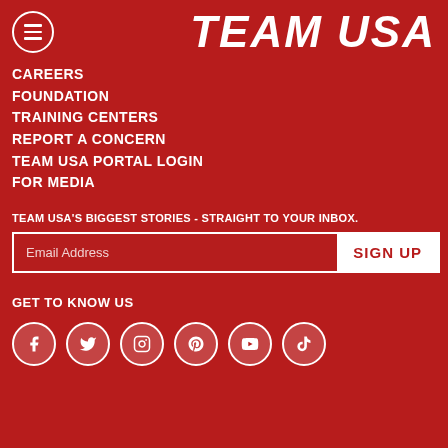TEAM USA
CAREERS
FOUNDATION
TRAINING CENTERS
REPORT A CONCERN
TEAM USA PORTAL LOGIN
FOR MEDIA
TEAM USA'S BIGGEST STORIES - STRAIGHT TO YOUR INBOX.
Email Address
SIGN UP
GET TO KNOW US
[Figure (infographic): Social media icons: Facebook, Twitter, Instagram, Pinterest, YouTube, TikTok]